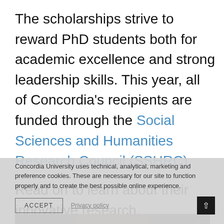The scholarships strive to reward PhD students both for academic excellence and strong leadership skills. This year, all of Concordia's recipients are funded through the Social Sciences and Humanities Research Council (SSHRC).
Read on to learn about their innovative research.
Concordia University uses technical, analytical, marketing and preference cookies. These are necessary for our site to function properly and to create the best possible online experience.
[Figure (photo): Partial photo of a man's face visible at the bottom of the page, with dark blurred background]